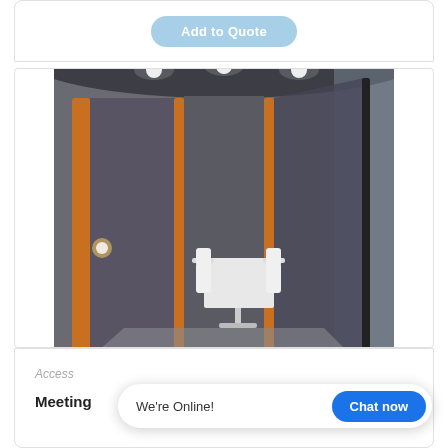[Figure (other): A UI button labeled 'Add to Quote' with light blue/steel blue background and rounded corners, shown at the top of a product card.]
[Figure (photo): A photo of an office meeting pod or acoustic room with glass doors open, wooden/orange frame, grey acoustic interior walls, white table with white chairs inside, ceiling lights including a linear LED strip, taken in a modern office environment.]
Acce...
Meeting
We're Online!
Chat now